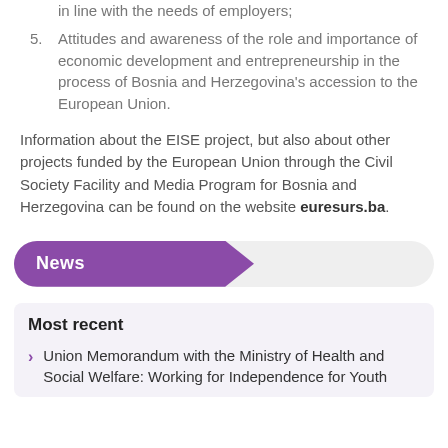4. improved planning and enrollment policies in education in line with the needs of employers;
5. Attitudes and awareness of the role and importance of economic development and entrepreneurship in the process of Bosnia and Herzegovina's accession to the European Union.
Information about the EISE project, but also about other projects funded by the European Union through the Civil Society Facility and Media Program for Bosnia and Herzegovina can be found on the website euresurs.ba.
News
Most recent
Union Memorandum with the Ministry of Health and Social Welfare: Working for Independence for Youth